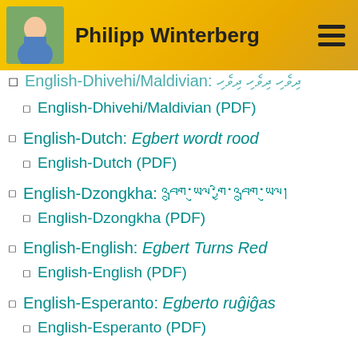Philipp Winterberg
English-Dhivehi/Maldivian: [Dhivehi text]
English-Dhivehi/Maldivian (PDF)
English-Dutch: Egbert wordt rood
English-Dutch (PDF)
English-Dzongkha: [Dzongkha text]
English-Dzongkha (PDF)
English-English: Egbert Turns Red
English-English (PDF)
English-Esperanto: Egberto ruĝiĝas
English-Esperanto (PDF)